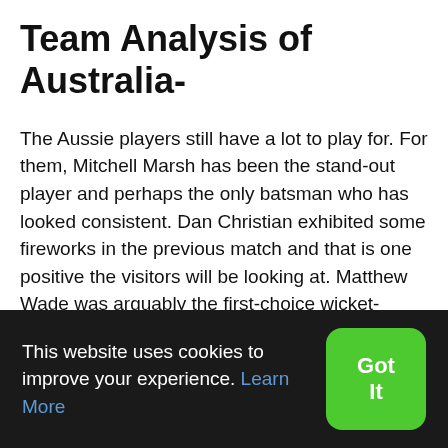Team Analysis of Australia-
The Aussie players still have a lot to play for. For them, Mitchell Marsh has been the stand-out player and perhaps the only batsman who has looked consistent. Dan Christian exhibited some fireworks in the previous match and that is one positive the visitors will be looking at. Matthew Wade was arguably the first-choice wicket-keeper for the Aussies, but his performance in the last few matches isn't something that he would like to
This website uses cookies to improve your experience. Learn More
Got It